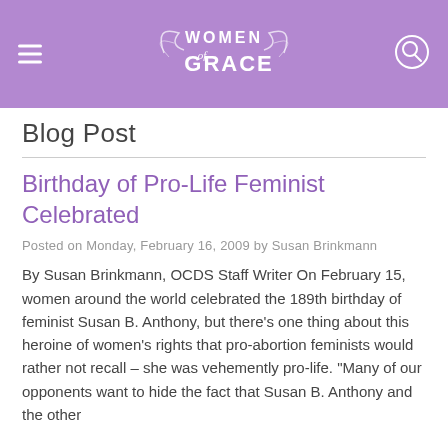Women of Grace
Blog Post
Birthday of Pro-Life Feminist Celebrated
Posted on Monday, February 16, 2009 by Susan Brinkmann
By Susan Brinkmann, OCDS Staff Writer On February 15, women around the world celebrated the 189th birthday of feminist Susan B. Anthony, but there’s one thing about this heroine of women's rights that pro-abortion feminists would rather not recall – she was vehemently pro-life. “Many of our opponents want to hide the fact that Susan B. Anthony and the other